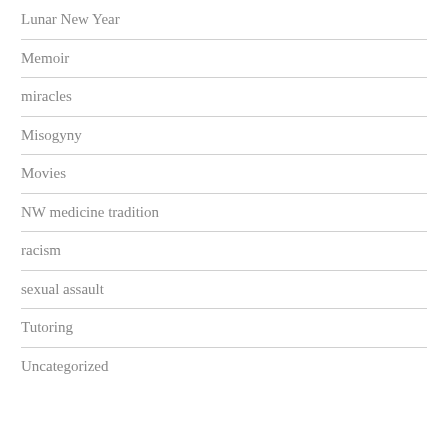Lunar New Year
Memoir
miracles
Misogyny
Movies
NW medicine tradition
racism
sexual assault
Tutoring
Uncategorized